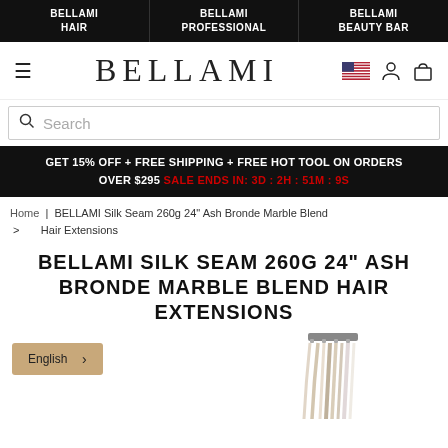BELLAMI HAIR | BELLAMI PROFESSIONAL | BELLAMI BEAUTY BAR
BELLAMI
GET 15% OFF + FREE SHIPPING + FREE HOT TOOL ON ORDERS OVER $295 SALE ENDS IN: 3D : 2H : 51M : 9S
Home > BELLAMI Silk Seam 260g 24" Ash Bronde Marble Blend Hair Extensions
BELLAMI SILK SEAM 260G 24" ASH BRONDE MARBLE BLEND HAIR EXTENSIONS
[Figure (photo): Hair extensions product photo with English language button overlay]
English >